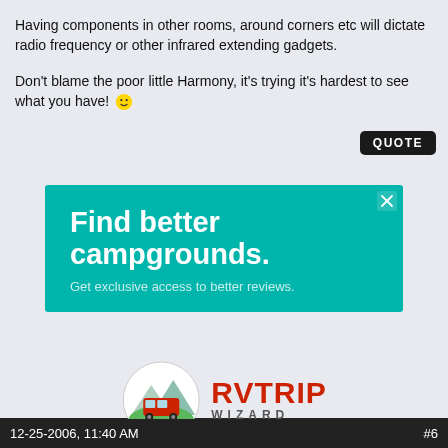Having components in other rooms, around corners etc will dictate radio frequency or other infrared extending gadgets.

Don't blame the poor little Harmony, it's trying it's hardest to see what you have! 😊
[Figure (infographic): Advertisement banner: teal background with bold white text 'Find better campgrounds.' and subtext 'Get exclusive access to better reviews.' with a close (X) button in top right corner.]
[Figure (logo): RV Trip Wizard logo: circular emblem with mountains and red RV/bus on road, beside bold red text 'RVTRIP' and gray text 'WIZARD']
12-25-2006, 11:40 AM   #6